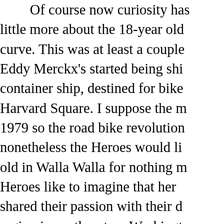Of course now curiosity has little more about the 18-year old curve. This was at least a couple Eddy Merckx's started being shi container ship, destined for bike Harvard Square. I suppose the m 1979 so the road bike revolution nonetheless the Heroes would li old in Walla Walla for nothing m Heroes like to imagine that her shared their passion with their d region in southeastern Washingt high school graduation present.

Fast forward to 2011 when a showed up on eBay from a selle be admired and contemplated ev course of the seven-day auction was the square crowned chrome can talk about for hours and ho